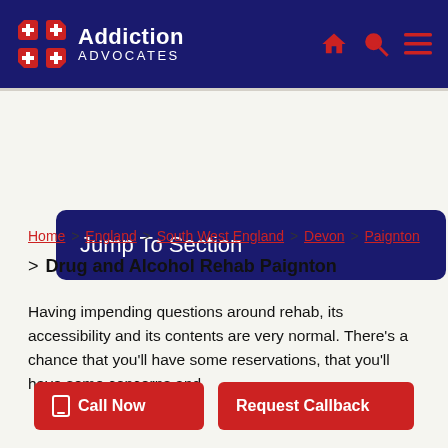[Figure (logo): Addiction Advocates logo with red cross icon and white text on dark navy header with red navigation icons (home, search, hamburger menu)]
Jump To Section
Home > England > South West England > Devon > Paignton > Drug and Alcohol Rehab Paignton
Having impending questions around rehab, its accessibility and its contents are very normal. There’s a chance that you’ll have some reservations, that you’ll have some concerns and
Call Now | Request Callback